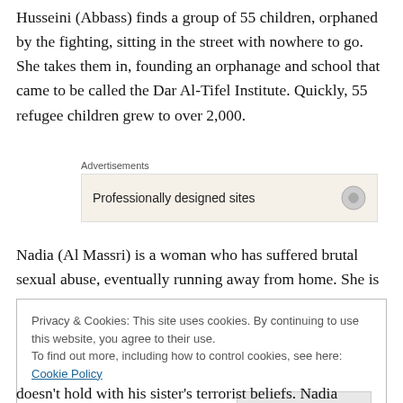Husseini (Abbass) finds a group of 55 children, orphaned by the fighting, sitting in the street with nowhere to go. She takes them in, founding an orphanage and school that came to be called the Dar Al-Tifel Institute. Quickly, 55 refugee children grew to over 2,000.
[Figure (screenshot): Advertisement box with label 'Advertisements' and content 'Professionally designed sites' with a circular icon]
Nadia (Al Massri) is a woman who has suffered brutal sexual abuse, eventually running away from home. She is
Privacy & Cookies: This site uses cookies. By continuing to use this website, you agree to their use.
To find out more, including how to control cookies, see here: Cookie Policy
[Close and accept button]
doesn't hold with his sister's terrorist beliefs. Nadia